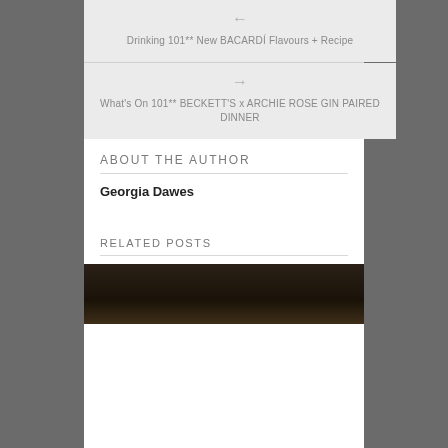← Drinking 101** New BACARDÍ Flavours + Recipe
→ What's On 101** BECKETT'S x ARCHIE ROSE GIN PAIRED DINNER
ABOUT THE AUTHOR
Georgia Dawes
RELATED POSTS
[Figure (photo): Dark thumbnail image for a related post]